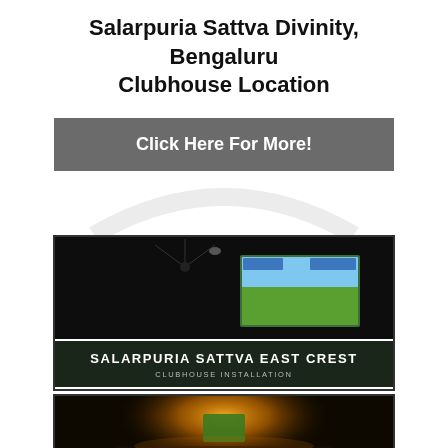Salarpuria Sattva Divinity, Bengaluru Clubhouse Location
Click Here For More!
[Figure (photo): Dark room with a projected golf simulation screen showing a green golf course, with ceiling fans visible. Text overlay reads: SALARPURIA SATTVA EAST CREST / CLUBHOUSE INSTALLATION]
[Figure (photo): Dark image showing a glowing orange/yellow light illuminating what appears to be a golf mat or green surface on a table.]